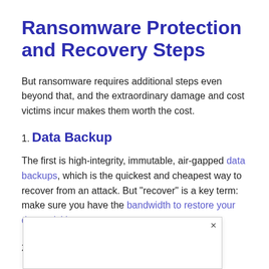Ransomware Protection and Recovery Steps
But ransomware requires additional steps even beyond that, and the extraordinary damage and cost victims incur makes them worth the cost.
1. Data Backup
The first is high-integrity, immutable, air-gapped data backups, which is the quickest and cheapest way to recover from an attack. But “recover” is a key term: make sure you have the bandwidth to restore your data quickly.
2. Ra…